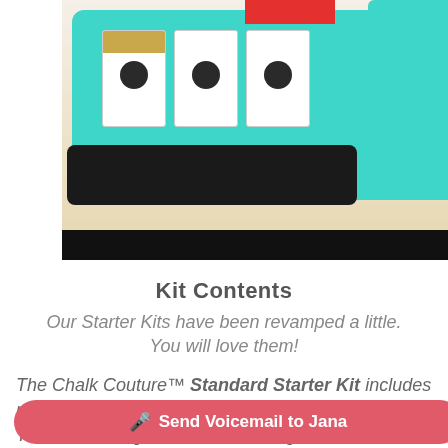[Figure (photo): Photo of Chalk Couture starter kit items on a teal mat with a black binding edge, showing stamp pad cards and a teal box, with a black bar at the bottom of the image area. Left white margin visible. Red redaction block over part of the image.]
Kit Contents
Our Starter Kits have been revamped a little. You will love them!
The Chalk Couture™ Standard Starter Kit includes revolutionary Chalkology® Paste and Chalk Transfer® designs, several exciting surfaces, and the opportunity for you to build the business you've
🎤 Send Voicemail to Jana